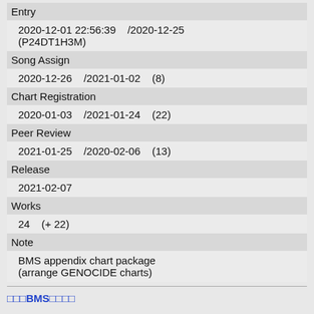Entry
2020-12-01 22:56:39   /2020-12-25 (P24DT1H3M)
Song Assign
2020-12-26   /2021-01-02   (8)
Chart Registration
2020-01-03   /2021-01-24   (22)
Peer Review
2021-01-25   /2020-02-06   (13)
Release
2021-02-07
Works
24   (+ 22)
Note
BMS appendix chart package (arrange GENOCIDE charts)
BMS関連